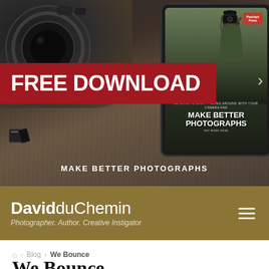[Figure (screenshot): Hero banner with camera/wood background, FREE DOWNLOAD red banner, and tablet showing Make Better Photographs ebook cover]
FREE DOWNLOAD
MAKE BETTER PHOTOGRAPHS
[Figure (logo): DavidduChemin site header with gold/tan background, name and tagline, hamburger menu]
DavidduChemin
Photographer. Author. Creative Instigator
🏠 > Blog > We Bounce
We Bounce